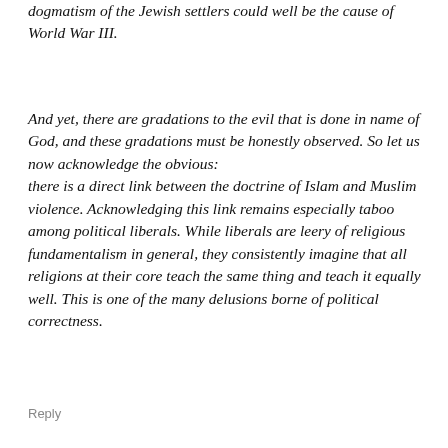dogmatism of the Jewish settlers could well be the cause of World War III.
And yet, there are gradations to the evil that is done in name of God, and these gradations must be honestly observed. So let us now acknowledge the obvious: there is a direct link between the doctrine of Islam and Muslim violence. Acknowledging this link remains especially taboo among political liberals. While liberals are leery of religious fundamentalism in general, they consistently imagine that all religions at their core teach the same thing and teach it equally well. This is one of the many delusions borne of political correctness.
Reply